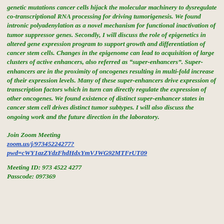genetic mutations cancer cells hijack the molecular machinery to dysregulate co-transcriptional RNA processing for driving tumorigenesis. We found intronic polyadenylation as a novel mechanism for functional inactivation of tumor suppressor genes. Secondly, I will discuss the role of epigenetics in altered gene expression program to support growth and differentiation of cancer stem cells. Changes in the epigenome can lead to acquisition of large clusters of active enhancers, also referred as “super-enhancers”. Super-enhancers are in the proximity of oncogenes resulting in multi-fold increase of their expression levels. Many of these super-enhancers drive expression of transcription factors which in turn can directly regulate the expression of other oncogenes. We found existence of distinct super-enhancer states in cancer stem cell drives distinct tumor subtypes. I will also discuss the ongoing work and the future direction in the laboratory.
Join Zoom Meeting
zoom.us/j/97345224277?pwd=cWY1azZYdzFhdHdxYmVJWG92MTFrUT09
Meeting ID: 973 4522 4277
Passcode: 097369